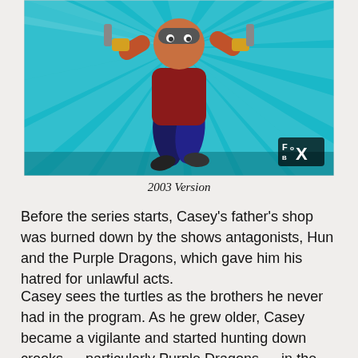[Figure (illustration): Animated cartoon character running forward with arms raised, holding weapons, set against a teal/cyan background with radial light rays. Fox Box logo in lower right corner. 2003 animated series style.]
2003 Version
Before the series starts, Casey's father's shop was burned down by the shows antagonists, Hun and the Purple Dragons, which gave him his hatred for unlawful acts.
Casey sees the turtles as the brothers he never had in the program. As he grew older, Casey became a vigilante and started hunting down crooks — particularly Purple Dragons — in the streets. Incidentally, fate brought him across the